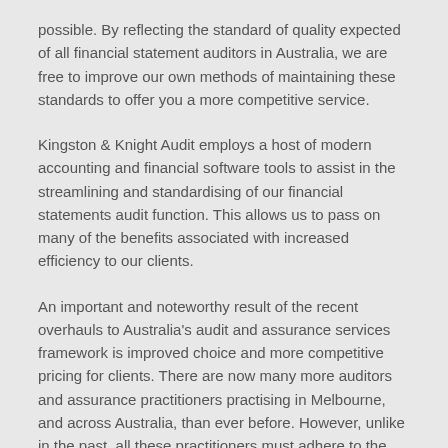possible. By reflecting the standard of quality expected of all financial statement auditors in Australia, we are free to improve our own methods of maintaining these standards to offer you a more competitive service.
Kingston & Knight Audit employs a host of modern accounting and financial software tools to assist in the streamlining and standardising of our financial statements audit function. This allows us to pass on many of the benefits associated with increased efficiency to our clients.
An important and noteworthy result of the recent overhauls to Australia's audit and assurance services framework is improved choice and more competitive pricing for clients. There are now many more auditors and assurance practitioners practising in Melbourne, and across Australia, than ever before. However, unlike in the past, all these practitioners must adhere to the same standards and quality of service in order to deliver the assurance and compliance their clients require.
This increased competition among financial services providers,